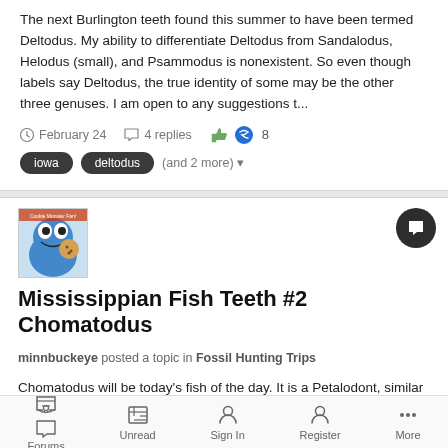The next Burlington teeth found this summer to have been termed Deltodus. My ability to differentiate Deltodus from Sandalodus, Helodus (small), and Psammodus is nonexistent. So even though labels say Deltodus, the true identity of some may be the other three genuses. I am open to any suggestions t...
February 24  4 replies  8
iowa  deltodus  (and 2 more)
Mississippian Fish Teeth #2 Chomatodus
minnbuckeye posted a topic in Fossil Hunting Trips
Chomatodus will be today's fish of the day. It is a Petalodont, similar to a modern day Ghost Shark. My understanding is that a fused upper jaw leaves Chomatodus as "shark like", not a true shark. From my
Forums  Unread  Sign In  Register  More